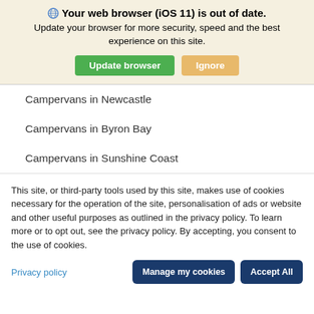[Figure (screenshot): Browser update notification banner with globe icon, bold title 'Your web browser (iOS 11) is out of date.', subtitle text, and two buttons: 'Update browser' (green) and 'Ignore' (tan)]
Campervans in Newcastle
Campervans in Byron Bay
Campervans in Sunshine Coast
This site, or third-party tools used by this site, makes use of cookies necessary for the operation of the site, personalisation of ads or website and other useful purposes as outlined in the privacy policy. To learn more or to opt out, see the privacy policy. By accepting, you consent to the use of cookies.
Privacy policy
[Figure (screenshot): Two dark navy blue buttons: 'Manage my cookies' and 'Accept All']